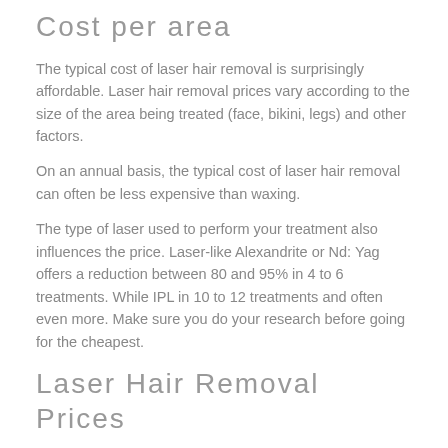Cost per area
The typical cost of laser hair removal is surprisingly affordable. Laser hair removal prices vary according to the size of the area being treated (face, bikini, legs) and other factors.
On an annual basis, the typical cost of laser hair removal can often be less expensive than waxing.
The type of laser used to perform your treatment also influences the price. Laser-like Alexandrite or Nd: Yag offers a reduction between 80 and 95% in 4 to 6 treatments. While IPL in 10 to 12 treatments and often even more. Make sure you do your research before going for the cheapest.
Laser Hair Removal Prices